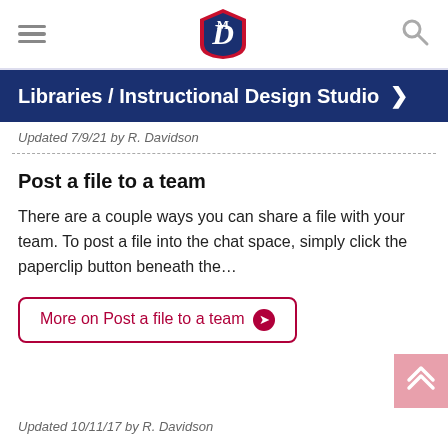Libraries / Instructional Design Studio >
Updated 7/9/21 by R. Davidson
Post a file to a team
There are a couple ways you can share a file with your team. To post a file into the chat space, simply click the paperclip button beneath the…
More on Post a file to a team ❯
Updated 10/11/17 by R. Davidson